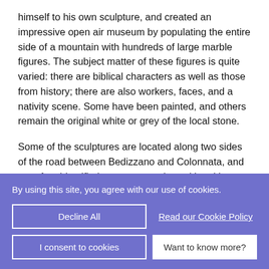himself to his own sculpture, and created an impressive open air museum by populating the entire side of a mountain with hundreds of large marble figures. The subject matter of these figures is quite varied: there are biblical characters as well as those from history; there are also workers, faces, and a nativity scene. Some have been painted, and others remain the original white or grey of the local stone.

Some of the sculptures are located along two sides of the road between Bedizzano and Colonnata, and are often identified or commented on with a title or phrases to label the works. Del Sarte also built a work called the
By using this site, you agree with our use of cookies.
Decline All
Read our Cookie Policy
I consent to cookies
Want to know more?